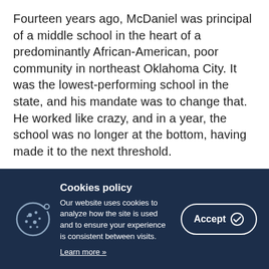Fourteen years ago, McDaniel was principal of a middle school in the heart of a predominantly African-American, poor community in northeast Oklahoma City. It was the lowest-performing school in the state, and his mandate was to change that. He worked like crazy, and in a year, the school was no longer at the bottom, having made it to the next threshold.
Everyone was excited about the gains. People told him [partially visible, cut off]
[Figure (other): Cookie consent banner with dark navy background, cookie icon on the left, text in the center saying 'Cookies policy' as heading and 'Our website uses cookies to analyze how the site is used and to ensure your experience is consistent between visits. Learn more »', and an Accept button with checkmark icon on the right.]